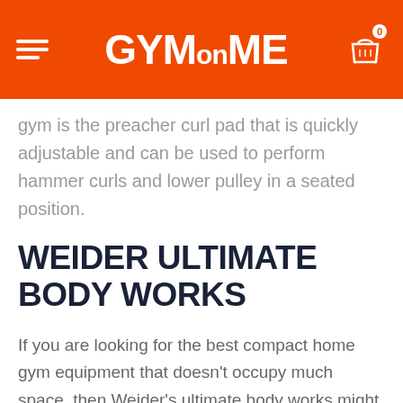GYMon ME
gym is the preacher curl pad that is quickly adjustable and can be used to perform hammer curls and lower pulley in a seated position.
WEIDER ULTIMATE BODY WORKS
If you are looking for the best compact home gym equipment that doesn't occupy much space, then Weider's ultimate body works might just be what you're looking for! It has an expandable and collapsible bench that can accommodate a variety of user heights and sizes